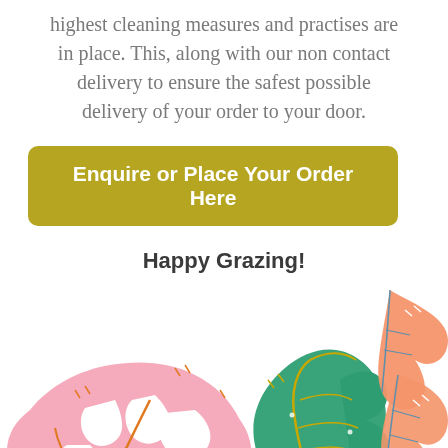highest cleaning measures and practises are in place. This, along with our non contact delivery to ensure the safest possible delivery of your order to your door.
Enquire or Place Your Order Here
Happy Grazing!
[Figure (illustration): Decorative tropical leaf illustration with pink monstera leaf, green oak-like leaves, and orange leaves at the bottom of the page, with a food photo strip at the very bottom.]